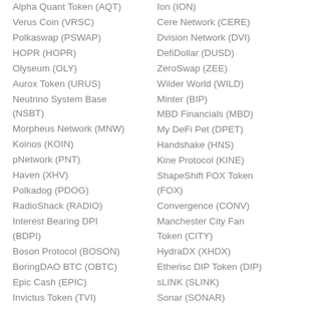Alpha Quant Token (AQT)
Ion (ION)
Verus Coin (VRSC)
Cere Network (CERE)
Polkaswap (PSWAP)
Dvision Network (DVI)
HOPR (HOPR)
DefiDollar (DUSD)
Olyseum (OLY)
ZeroSwap (ZEE)
Aurox Token (URUS)
Wilder World (WILD)
Neutrino System Base (NSBT)
Minter (BIP)
MBD Financials (MBD)
Morpheus Network (MNW)
My DeFi Pet (DPET)
Koinos (KOIN)
Handshake (HNS)
pNetwork (PNT)
Kine Protocol (KINE)
Haven (XHV)
ShapeShift FOX Token (FOX)
Polkadog (PDOG)
Convergence (CONV)
RadioShack (RADIO)
Manchester City Fan Token (CITY)
Interest Bearing DPI (BDPI)
HydraDX (XHDX)
Boson Protocol (BOSON)
Etherisc DIP Token (DIP)
BoringDAO BTC (OBTC)
sLINK (SLINK)
Epic Cash (EPIC)
Sonar (SONAR)